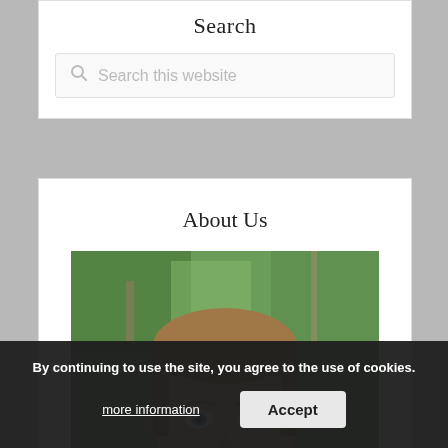Search
Search this website
About Us
[Figure (photo): Close-up portrait photo of a young man with short brown hair and blue eyes, outdoors with green trees in the background]
By continuing to use the site, you agree to the use of cookies.
more information
Accept